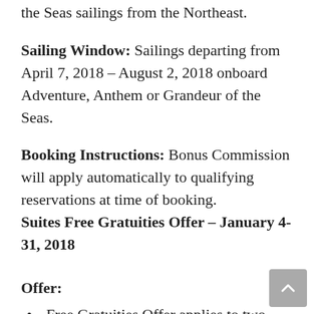the Seas sailings from the Northeast.
Sailing Window: Sailings departing from April 7, 2018 – August 2, 2018 onboard Adventure, Anthem or Grandeur of the Seas.
Booking Instructions: Bonus Commission will apply automatically to qualifying reservations at time of booking.
Suites Free Gratuities Offer – January 4-31, 2018
Offer:
Free Gratuities Offer applies to two guests per stateroom and provides for prepaid